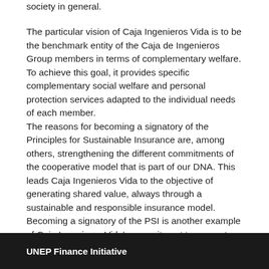society in general.
The particular vision of Caja Ingenieros Vida is to be the benchmark entity of the Caja de Ingenieros Group members in terms of complementary welfare. To achieve this goal, it provides specific complementary social welfare and personal protection services adapted to the individual needs of each member.
The reasons for becoming a signatory of the Principles for Sustainable Insurance are, among others, strengthening the different commitments of the cooperative model that is part of our DNA. This leads Caja Ingenieros Vida to the objective of generating shared value, always through a sustainable and responsible insurance model. Becoming a signatory of the PSI is another example of Caja Ingenieros Vida's commitment to generate a positive impact on society.
UNEP Finance Initiative